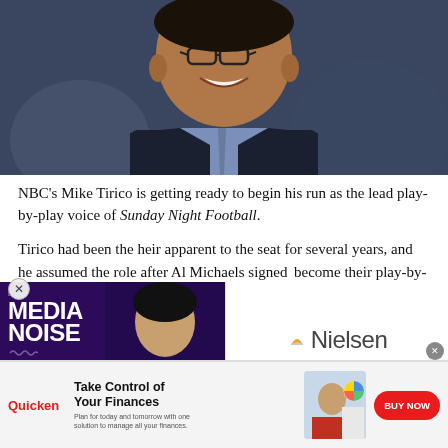[Figure (photo): Smiling man in dark checked blazer and light blue shirt with tie, photographed from chest up against a blurred background]
NBC's Mike Tirico is getting ready to begin his run as the lead play-by-play voice of Sunday Night Football.
Tirico had been the heir apparent to the seat for several years, and he assumed the role after Al Michaels signed ...become their play-by-play ...otball.
[Figure (infographic): Media Noise podcast advertisement overlay with purple background, and Nielsen logo advertisement]
[Figure (infographic): Quicken advertisement: Take Control of Your Finances — Plan for today and tomorrow with one solution to manage all your finances. BUY NOW button.]